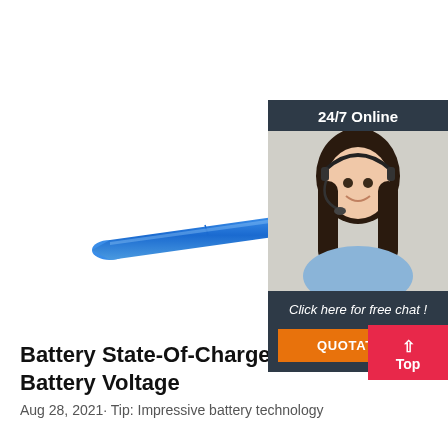[Figure (photo): A blue cylindrical tube (battery or cylindrical object) shown diagonally against a white background]
[Figure (infographic): Advertisement widget showing '24/7 Online' header, a smiling woman with headset, 'Click here for free chat!' text, and an orange QUOTATION button on dark background]
[Figure (infographic): Red 'Top' button with upward arrow in bottom right corner]
Battery State-Of-Charge Chart | 12 Volt Battery Voltage
Aug 28, 2021· Tip: Impressive battery technology